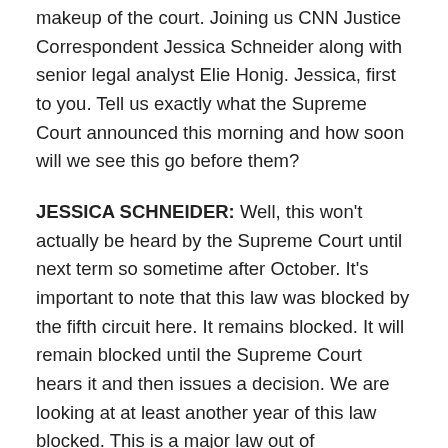makeup of the court. Joining us CNN Justice Correspondent Jessica Schneider along with senior legal analyst Elie Honig. Jessica, first to you. Tell us exactly what the Supreme Court announced this morning and how soon will we see this go before them?
JESSICA SCHNEIDER: Well, this won't actually be heard by the Supreme Court until next term so sometime after October. It's important to note that this law was blocked by the fifth circuit here. It remains blocked. It will remain blocked until the Supreme Court hears it and then issues a decision. We are looking at at least another year of this law blocked. This is a major law out of Mississippi, it blocks abortions after 15 weeks, except for cases of a medical